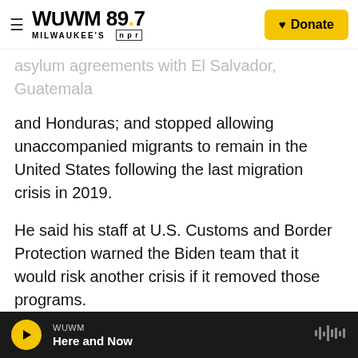WUWM 89.7 MILWAUKEE'S NPR — Donate
asylum agreements with El Salvador, Guatemala and Honduras; and stopped allowing unaccompanied migrants to remain in the United States following the last migration crisis in 2019.
He said his staff at U.S. Customs and Border Protection warned the Biden team that it would risk another crisis if it removed those programs.
"CBP would tell them and, in a sense, warn them, 'If you remove this ... this is the consequence for that. We will see a significant uptick,' " he said.
But those programs were quite controversial and
WUWM — Here and Now